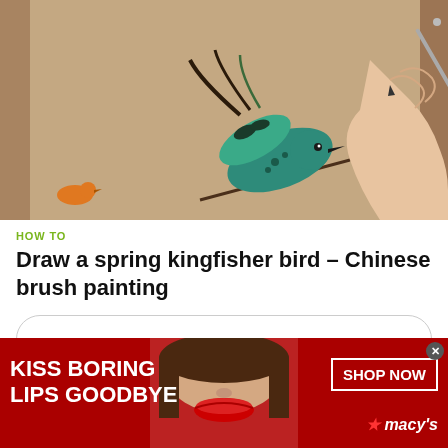[Figure (photo): A hand holding a brush painting a teal/green kingfisher bird in Chinese brush painting style on a beige/tan paper background, with a smaller orange bird visible in the bottom left corner.]
HOW TO
Draw a spring kingfisher bird – Chinese brush painting
ALL HOT POSTS
[Figure (photo): Advertisement banner: 'KISS BORING LIPS GOODBYE' in white text on red background, with a woman's face showing red lips in the center, and a 'SHOP NOW' button with Macy's star logo on the right.]